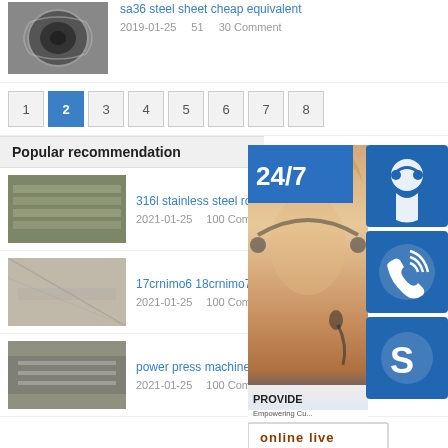[Figure (photo): Steel coil roll photo]
sa36 steel sheet cheap equivalent
2019-01-25  51  30 Comment
1 2 3 4 5 6 7 8 pagination
Popular recommendation
[Figure (photo): Steel sheets stacked in warehouse]
316l stainless steel round tube g...
2021-01-25  100 Comment
[Figure (photo): Metal plates on floor]
17crnimo6 18crnimo7
2021-01-25  100 Comment
[Figure (photo): Industrial press machine area]
power press machine carbon steels
2021-01-25  100 Comment
[Figure (infographic): 24/7 customer service widget with phone/Skype icons and online live chat button]